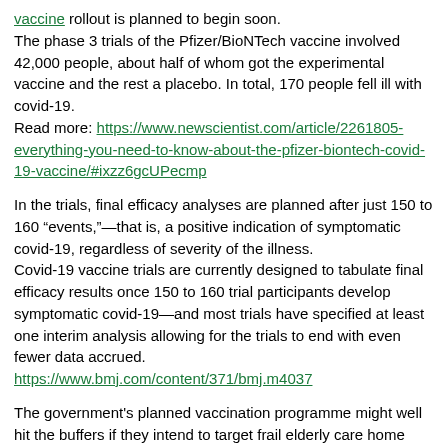vaccine rollout is planned to begin soon. The phase 3 trials of the Pfizer/BioNTech vaccine involved 42,000 people, about half of whom got the experimental vaccine and the rest a placebo. In total, 170 people fell ill with covid-19. Read more: https://www.newscientist.com/article/2261805-everything-you-need-to-know-about-the-pfizer-biontech-covid-19-vaccine/#ixzz6gcUPecmp
In the trials, final efficacy analyses are planned after just 150 to 160 "events,"—that is, a positive indication of symptomatic covid-19, regardless of severity of the illness. Covid-19 vaccine trials are currently designed to tabulate final efficacy results once 150 to 160 trial participants develop symptomatic covid-19—and most trials have specified at least one interim analysis allowing for the trials to end with even fewer data accrued. https://www.bmj.com/content/371/bmj.m4037
The government's planned vaccination programme might well hit the buffers if they intend to target frail elderly care home residents first, without first seeking informed consent. Most of whom will have relations with Power of Attorney. A large number of care home residents have dementia...